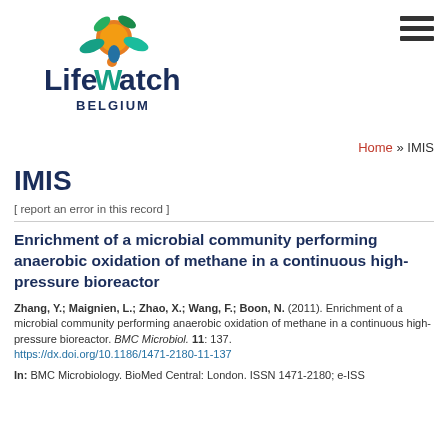[Figure (logo): LifeWatch Belgium logo with colorful plant/fruit illustration and text 'LifeWatch BELGIUM']
Home » IMIS
IMIS
[ report an error in this record ]
Enrichment of a microbial community performing anaerobic oxidation of methane in a continuous high-pressure bioreactor
Zhang, Y.; Maignien, L.; Zhao, X.; Wang, F.; Boon, N. (2011). Enrichment of a microbial community performing anaerobic oxidation of methane in a continuous high-pressure bioreactor. BMC Microbiol. 11: 137. https://dx.doi.org/10.1186/1471-2180-11-137
In: BMC Microbiology. BioMed Central: London. ISSN 1471-2180; e-ISSN